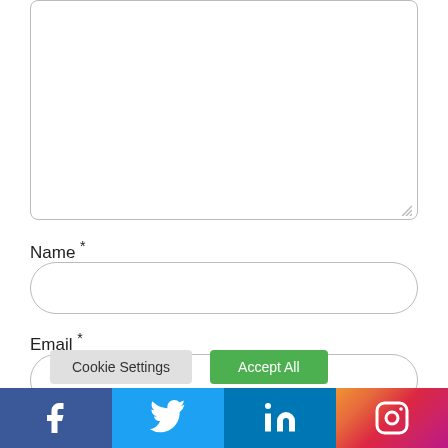[Figure (screenshot): Empty textarea input box with resize handle in bottom-right corner]
Name *
[Figure (screenshot): Empty rounded text input field for Name]
Email *
[Figure (screenshot): Empty rounded text input field for Email]
We use cookies on our website to give you the most relevant experience by remembering your preferences and repeat visits. By clicking "Accept All", you consent to the use of ALL the cookies. However, you may visit "Cookie Settings" to provide a controlled consent.
[Figure (screenshot): Cookie consent buttons: 'Cookie Settings' (grey) and 'Accept All' (green)]
[Figure (screenshot): Social media bar with Facebook, Twitter, LinkedIn, and Instagram icons]